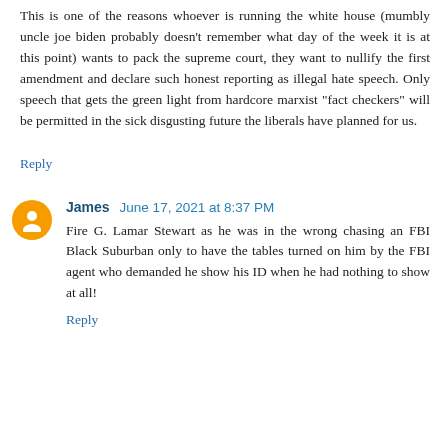This is one of the reasons whoever is running the white house (mumbly uncle joe biden probably doesn't remember what day of the week it is at this point) wants to pack the supreme court, they want to nullify the first amendment and declare such honest reporting as illegal hate speech. Only speech that gets the green light from hardcore marxist "fact checkers" will be permitted in the sick disgusting future the liberals have planned for us.
Reply
James  June 17, 2021 at 8:37 PM
Fire G. Lamar Stewart as he was in the wrong chasing an FBI Black Suburban only to have the tables turned on him by the FBI agent who demanded he show his ID when he had nothing to show at all!
Reply